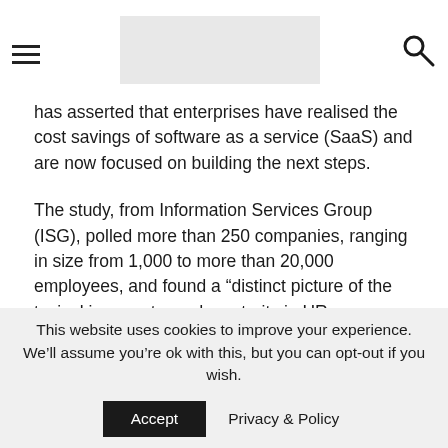[hamburger menu icon] [logo placeholder] [search icon]
has asserted that enterprises have realised the cost savings of software as a service (SaaS) and are now focused on building the next steps.
The study, from Information Services Group (ISG), polled more than 250 companies, ranging in size from 1,000 to more than 20,000 employees, and found a “distinct picture of the typical journey towards maturity in HR technology.”
Approximately half of those polled who had leveraged a SaaS model said they had achieved between 10% and 30% savings in both IT and technology operations and HR administration. 15% said they had achieved savings of 30% or more in both areas. When it came to a specific technology platform – perhaps not surprisingly given the sensitive data departments work with – data security was the key feature, cited by almost three quarters (73%)
This website uses cookies to improve your experience. We’ll assume you’re ok with this, but you can opt-out if you wish.
Accept    Privacy & Policy